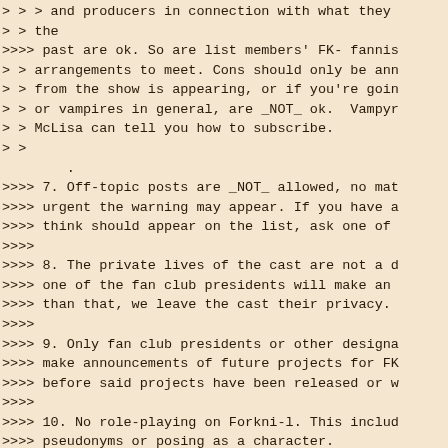> > > and producers in connection with what they
> > the
>>>> past are ok. So are list members' FK- fannis
> > arrangements to meet. Cons should only be ann
> > from the show is appearing, or if you're goin
> > or vampires in general, are _NOT_ ok.  Vampyr
> > McLisa can tell you how to subscribe.
> >
        .
>>>> 7. Off-topic posts are _NOT_ allowed, no mat
>>>> urgent the warning may appear. If you have a
>>>> think should appear on the list, ask one of
>>>>
>>>> 8. The private lives of the cast are not a d
>>>> one of the fan club presidents will make an
>>>> than that, we leave the cast their privacy.
>>>>
>>>> 9. Only fan club presidents or other designa
>>>> make announcements of future projects for FK
>>>> before said projects have been released or w
>>>>
>>>> 10. No role-playing on Forkni-l. This includ
>>>> pseudonyms or posing as a character.
>>>>
>>>> 11. Each subscriber is limited to five posts
>>>>
> > >
> > > McLisa (Lisa McDavid)